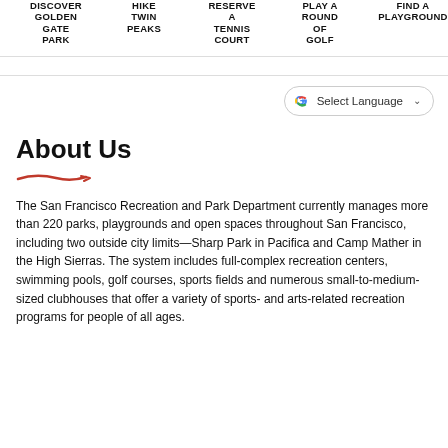DISCOVER GOLDEN GATE PARK | HIKE TWIN PEAKS | RESERVE A TENNIS COURT | PLAY A ROUND OF GOLF | FIND A PLAYGROUND
[Figure (logo): Google Translate Select Language dropdown button]
About Us
The San Francisco Recreation and Park Department currently manages more than 220 parks, playgrounds and open spaces throughout San Francisco, including two outside city limits—Sharp Park in Pacifica and Camp Mather in the High Sierras. The system includes full-complex recreation centers, swimming pools, golf courses, sports fields and numerous small-to-medium-sized clubhouses that offer a variety of sports- and arts-related recreation programs for people of all ages.